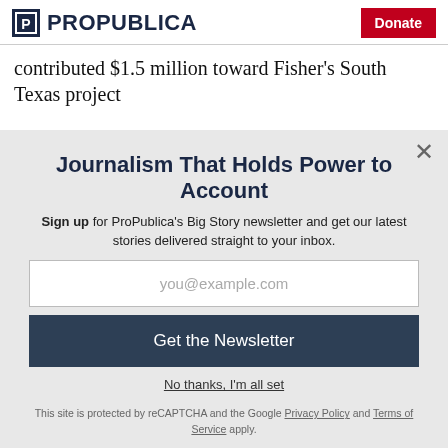ProPublica | Donate
contributed $1.5 million toward Fisher's South Texas project
Journalism That Holds Power to Account
Sign up for ProPublica's Big Story newsletter and get our latest stories delivered straight to your inbox.
you@example.com
Get the Newsletter
No thanks, I'm all set
This site is protected by reCAPTCHA and the Google Privacy Policy and Terms of Service apply.